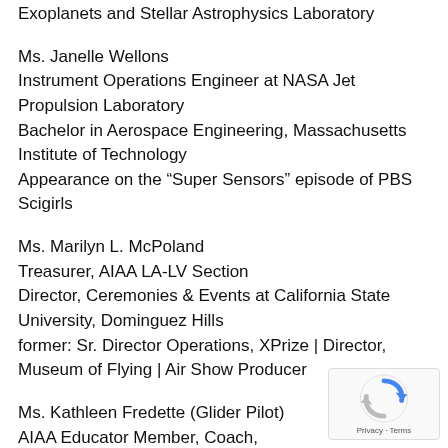Exoplanets and Stellar Astrophysics Laboratory
Ms. Janelle Wellons
Instrument Operations Engineer at NASA Jet Propulsion Laboratory
Bachelor in Aerospace Engineering, Massachusetts Institute of Technology
Appearance on the “Super Sensors” episode of PBS Scigirls
Ms. Marilyn L. McPoland
Treasurer, AIAA LA-LV Section
Director, Ceremonies & Events at California State University, Dominguez Hills
former: Sr. Director Operations, XPrize | Director, Museum of Flying | Air Show Producer
Ms. Kathleen Fredette (Glider Pilot)
AIAA Educator Member, Coach, Presenter, Glider Pilot,
Director of STEAM Initiatives for iLEAD CA Charter